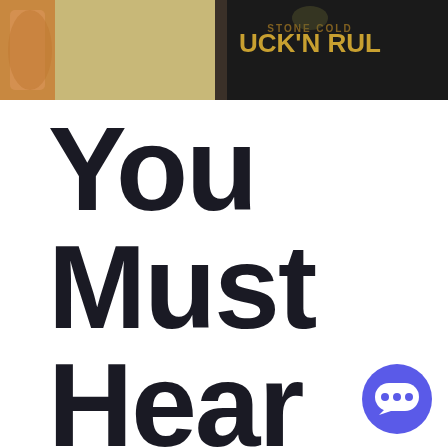[Figure (photo): Photo of two people - one wearing a beige/khaki shirt with visible tattoo on arm, and another wearing a black graphic t-shirt with 'ROCK N RULE' or similar text in gold lettering]
You Must Hear The